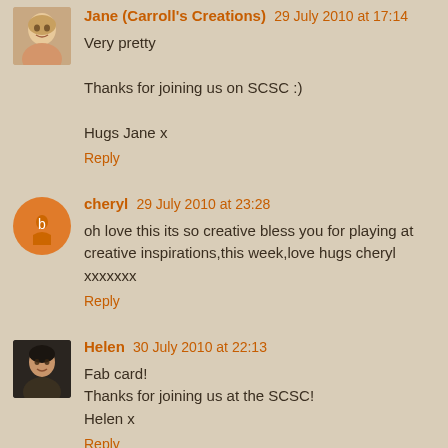Jane (Carroll's Creations) 29 July 2010 at 17:14
Very pretty

Thanks for joining us on SCSC :)

Hugs Jane x
Reply
cheryl 29 July 2010 at 23:28
oh love this its so creative bless you for playing at creative inspirations,this week,love hugs cheryl xxxxxxx
Reply
Helen 30 July 2010 at 22:13
Fab card!
Thanks for joining us at the SCSC!
Helen x
Reply